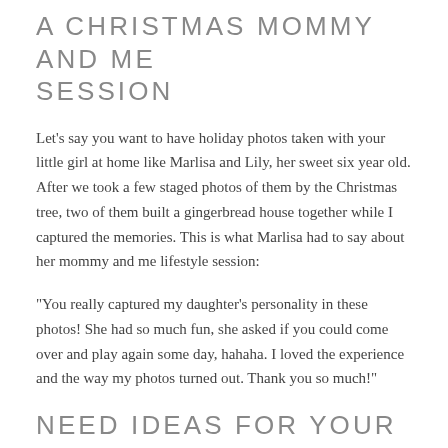A CHRISTMAS MOMMY AND ME SESSION
Let's say you want to have holiday photos taken with your little girl at home like Marlisa and Lily, her sweet six year old. After we took a few staged photos of them by the Christmas tree, two of them built a gingerbread house together while I captured the memories. This is what Marlisa had to say about her mommy and me lifestyle session:
“You really captured my daughter’s personality in these photos! She had so much fun, she asked if you could come over and play again some day, hahaha. I loved the experience and the way my photos turned out. Thank you so much!”
NEED IDEAS FOR YOUR LIFESTYLE SESSION?